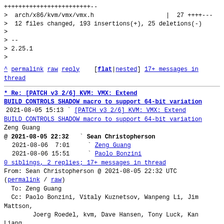++++++++++++++++++++++++--
> arch/x86/kvm/vmx/vmx.h                    |  27 ++++---
> 12 files changed, 193 insertions(+), 25 deletions(-)
>
> --
> 2.25.1
>
^ permalink raw reply [flat|nested] 17+ messages in thread
* Re: [PATCH v3 2/6] KVM: VMX: Extend BUILD_CONTROLS_SHADOW macro to support 64-bit variation
2021-08-05 15:13 ` [PATCH v3 2/6] KVM: VMX: Extend BUILD_CONTROLS_SHADOW macro to support 64-bit variation
Zeng Guang
@ 2021-08-05 22:32   ` Sean Christopherson
  2021-08-06  7:01     ` Zeng Guang
  2021-08-06 15:51     ` Paolo Bonzini
  0 siblings, 2 replies; 17+ messages in thread
From: Sean Christopherson @ 2021-08-05 22:32 UTC
(permalink / raw)
  To: Zeng Guang
  Cc: Paolo Bonzini, Vitaly Kuznetsov, Wanpeng Li, Jim Mattson,
      Joerg Roedel, kvm, Dave Hansen, Tony Luck, Kan Liang,
      Thomas Gleixner, Ingo Molnar, Borislav Petkov,
H. Peter Anvin,